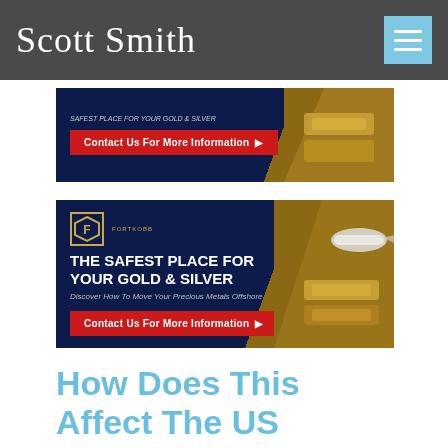Scott Smith
[Figure (screenshot): Dark navy and gold advertisement banner (partial, top) with a red 'Contact Us For More Information' button and gold bars imagery on the right]
[Figure (screenshot): FORTKORR advertisement: 'THE SAFEST PLACE FOR YOUR GOLD & SILVER — Discover How To Move Your Precious Metals Offshore' with red Contact Us button, logo, plane and gold bars imagery]
How Does This Affect The US